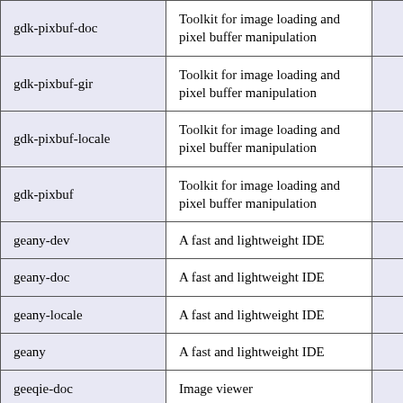| Package | Description | Version |
| --- | --- | --- |
| gdk-pixbuf-doc | Toolkit for image loading and pixel buffer manipulation | 2.34.0 |
| gdk-pixbuf-gir | Toolkit for image loading and pixel buffer manipulation | 2.36.5 |
| gdk-pixbuf-locale | Toolkit for image loading and pixel buffer manipulation | 2.34.0 |
| gdk-pixbuf | Toolkit for image loading and pixel buffer manipulation | 2.36.5 |
| geany-dev | A fast and lightweight IDE | 1.28 |
| geany-doc | A fast and lightweight IDE | 1.28 |
| geany-locale | A fast and lightweight IDE | 1.28 |
| geany | A fast and lightweight IDE | 1.28 |
| geeqie-doc | Image viewer | 1.3 |
| (partial row) | Image viewer | 1.3 |